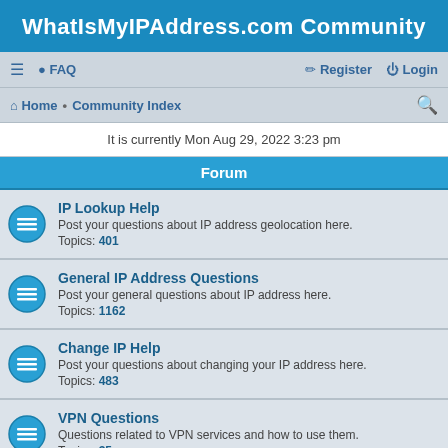WhatIsMyIPAddress.com Community
≡  FAQ    Register  Login
Home · Community Index
It is currently Mon Aug 29, 2022 3:23 pm
Forum
IP Lookup Help
Post your questions about IP address geolocation here.
Topics: 401
General IP Address Questions
Post your general questions about IP address here.
Topics: 1162
Change IP Help
Post your questions about changing your IP address here.
Topics: 483
VPN Questions
Questions related to VPN services and how to use them.
Topics: 35
Proxy Server Questions
Post your questions about proxy servers here.
Topics: 152
Email Tracing Help